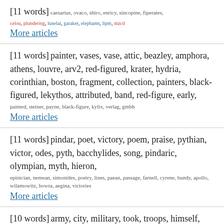[11 words] caesarius, ovaco, shiro, enricy, sincopine, fiperates, celou, plundering, lunelai, garaker, elephants, lipm, ntzcd More articles
[11 words] painter, vases, vase, attic, beazley, amphora, athens, louvre, arv2, red-figured, krater, hydria, corinthian, boston, fragment, collection, painters, black-figured, lekythos, attributed, band, red-figure, early, painted, steiner, payne, black-figure, kylix, verlag, gmbh More articles
[11 words] pindar, poet, victory, poem, praise, pythian, victor, odes, pyth, bacchylides, song, pindaric, olympian, myth, hieron, epinician, nemean, simonides, poetry, lines, paean, passage, farnell, cyrene, bundy, apollo, wilamowitz, bowra, aegina, victories More articles
[10 words] army, city, military, took, troops, himself, control, power, events, position, situation, policy, force, sent,